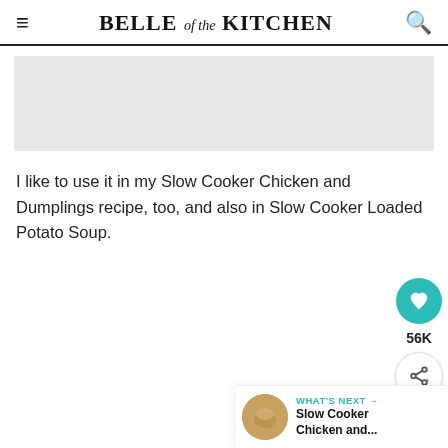BELLE of the KITCHEN
[Figure (photo): Gray placeholder image area]
I like to use it in my Slow Cooker Chicken and Dumplings recipe, too, and also in Slow Cooker Loaded Potato Soup.
[Figure (infographic): Social sidebar with heart icon, 56K count, and share icon]
WHAT'S NEXT → Slow Cooker Chicken and...